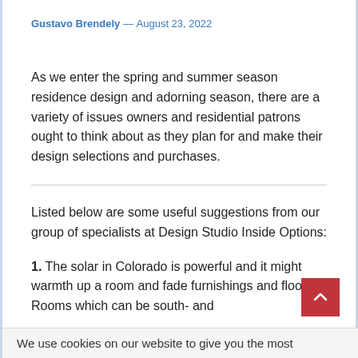Gustavo Brendely — August 23, 2022
As we enter the spring and summer season residence design and adorning season, there are a variety of issues owners and residential patrons ought to think about as they plan for and make their design selections and purchases.
Listed below are some useful suggestions from our group of specialists at Design Studio Inside Options:
1. The solar in Colorado is powerful and it might warmth up a room and fade furnishings and flooring. Rooms which can be south- and
We use cookies on our website to give you the most